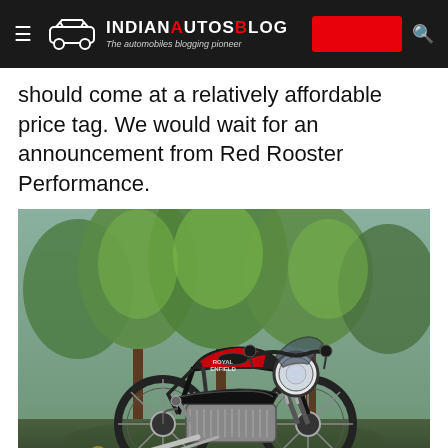IndianAutosBlog — The automobiles blogging pioneer
should come at a relatively affordable price tag. We would wait for an announcement from Red Rooster Performance.
[Figure (photo): Red and black Royal Enfield motorcycle (likely Interceptor 650 or similar), parked on a leafy outdoor path with green trees in the background. The bike features a round headlight with a small windscreen, black seat, chrome exhaust, and retro styling.]